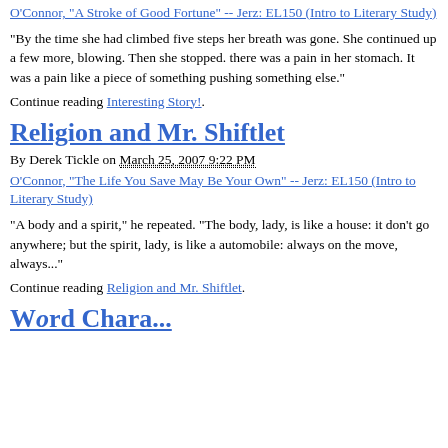O'Connor, "A Stroke of Good Fortune" -- Jerz: EL150 (Intro to Literary Study)
"By the time she had climbed five steps her breath was gone. She continued up a few more, blowing. Then she stopped. there was a pain in her stomach. It was a pain like a piece of something pushing something else."
Continue reading Interesting Story!.
Religion and Mr. Shiftlet
By Derek Tickle on March 25, 2007 9:22 PM
O'Connor, "The Life You Save May Be Your Own" -- Jerz: EL150 (Intro to Literary Study)
"A body and a spirit," he repeated. "The body, lady, is like a house: it don't go anywhere; but the spirit, lady, is like a automobile: always on the move, always..."
Continue reading Religion and Mr. Shiftlet.
Word Cha...